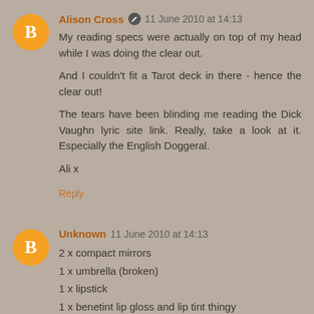Alison Cross 🖉 11 June 2010 at 14:13
My reading specs were actually on top of my head while I was doing the clear out.

And I couldn't fit a Tarot deck in there - hence the clear out!

The tears have been blinding me reading the Dick Vaughn lyric site link. Really, take a look at it. Especially the English Doggeral.

Ali x
Reply
Unknown 11 June 2010 at 14:13
2 x compact mirrors
1 x umbrella (broken)
1 x lipstick
1 x benetint lip gloss and lip tint thingy
Oyster card